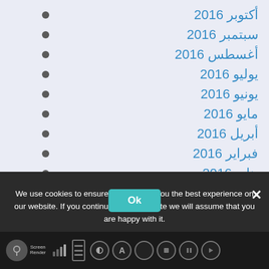أكتوبر 2016
سبتمبر 2016
أغسطس 2016
يوليو 2016
يونيو 2016
مايو 2016
أبريل 2016
فبراير 2016
يناير 2016
ديسمبر 2015
نوفمبر 2015
We use cookies to ensure that we give you the best experience on our website. If you continue to use this site we will assume that you are happy with it.
أغسطس 2015
Screen Reader toolbar